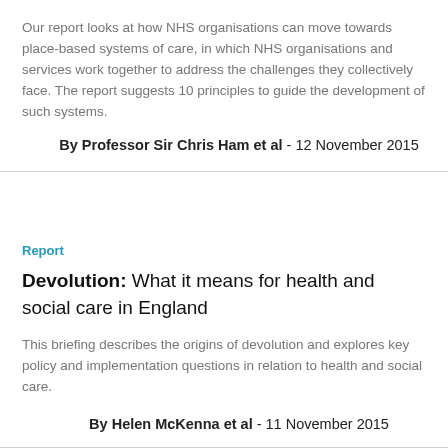Our report looks at how NHS organisations can move towards place-based systems of care, in which NHS organisations and services work together to address the challenges they collectively face. The report suggests 10 principles to guide the development of such systems.
By Professor Sir Chris Ham et al - 12 November 2015
Report
Devolution: What it means for health and social care in England
This briefing describes the origins of devolution and explores key policy and implementation questions in relation to health and social care.
By Helen McKenna et al - 11 November 2015